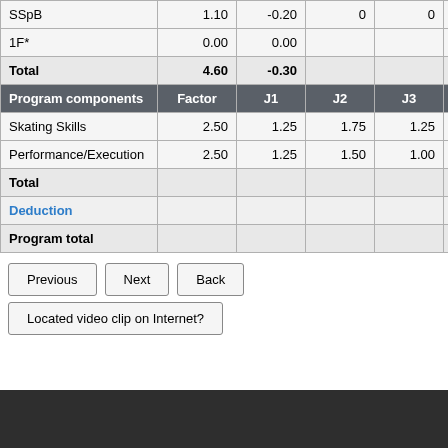|  |  | J1 | J2 | J3 | J4 |
| --- | --- | --- | --- | --- | --- |
| SSpB | 1.10 | -0.20 | 0 | 0 | 0 | - |
| 1F* | 0.00 | 0.00 |  |  |  |  |
| Total | 4.60 | -0.30 |  |  |  |  |
| Program components | Factor | J1 | J2 | J3 | J4 |
| Skating Skills | 2.50 | 1.25 | 1.75 | 1.25 | 2.25 |
| Performance/Execution | 2.50 | 1.25 | 1.50 | 1.00 | 2.00 |
| Total |  |  |  |  |  |
| Deduction |  |  |  |  |  |
| Program total |  |  |  |  | 4.30 - |
Previous
Next
Back
Located video clip on Internet?